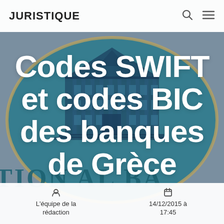JURISTIQUE
[Figure (illustration): Background image of a bank building inside a teal and gold ellipse/oval logo, with a muted grey-blue overlay. The building appears to be the National Bank of Greece.]
Codes SWIFT et codes BIC des banques de Grèce
L'équipe de la rédaction
14/12/2015 à 17:45